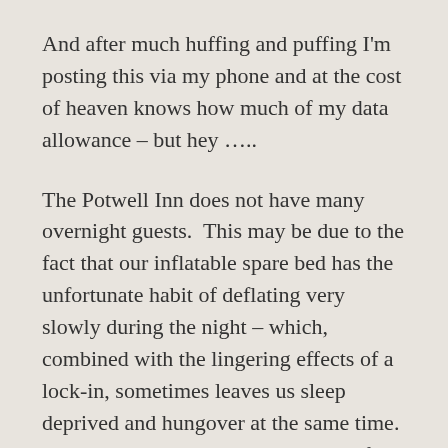And after much huffing and puffing I'm posting this via my phone and at the cost of heaven knows how much of my data allowance – but hey …..
The Potwell Inn does not have many overnight guests.  This may be due to the fact that our inflatable spare bed has the unfortunate habit of deflating very slowly during the night – which, combined with the lingering effects of a lock-in, sometimes leaves us sleep deprived and hungover at the same time. Our most recent guests escaped that fate by virtue of an improvised puncture patch and an early(ish) night which contributed to an early breakfast and a civilised conversation. Later, during a